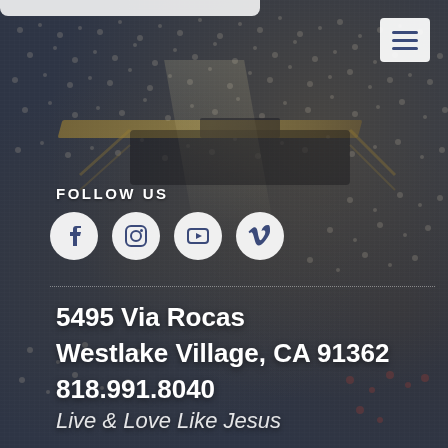[Figure (photo): Aerial view of a large indoor arena filled with a crowd of people, dark blue/grey tones with golden accent rails visible. Used as a full-page background image.]
FOLLOW US
[Figure (infographic): Row of four social media icons (Facebook, Instagram, YouTube, Vimeo) in white circular buttons]
5495 Via Rocas
Westlake Village, CA 91362
818.991.8040
Live & Love Like Jesus